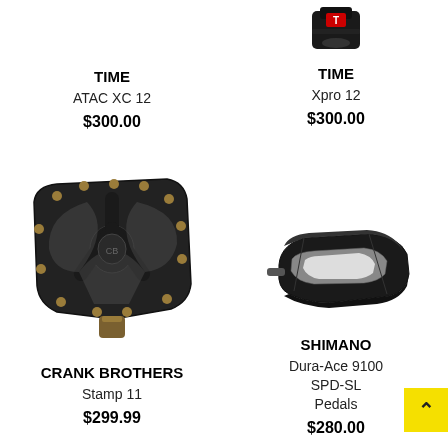[Figure (photo): TIME ATAC XC 12 bicycle pedal product image (partially visible, cropped at top)]
TIME
ATAC XC 12
$300.00
[Figure (photo): TIME Xpro 12 bicycle pedal product image, black cycling shoe cleat/pedal]
TIME
Xpro 12
$300.00
[Figure (photo): Crank Brothers Stamp 11 flat platform bicycle pedal, black with gold accents]
CRANK BROTHERS
Stamp 11
$299.99
[Figure (photo): Shimano Dura-Ace 9100 SPD-SL road bicycle clipless pedals, black]
SHIMANO
Dura-Ace 9100 SPD-SL Pedals
$280.00